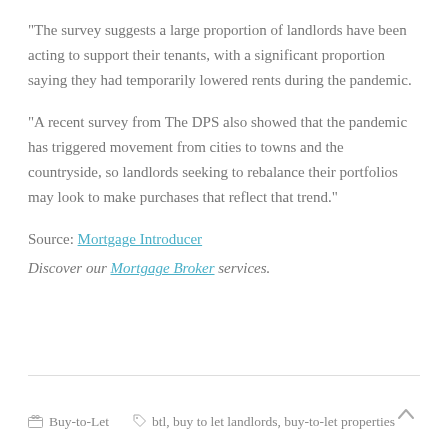“The survey suggests a large proportion of landlords have been acting to support their tenants, with a significant proportion saying they had temporarily lowered rents during the pandemic.
“A recent survey from The DPS also showed that the pandemic has triggered movement from cities to towns and the countryside, so landlords seeking to rebalance their portfolios may look to make purchases that reflect that trend.”
Source: Mortgage Introducer
Discover our Mortgage Broker services.
Buy-to-Let   btl, buy to let landlords, buy-to-let properties